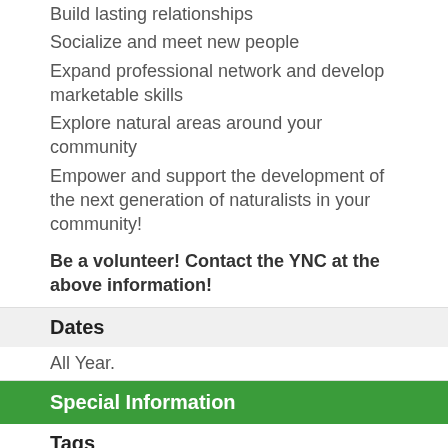Build lasting relationships
Socialize and meet new people
Expand professional network and develop marketable skills
Explore natural areas around your community
Empower and support the development of the next generation of naturalists in your community!
Be a volunteer! Contact the YNC at the above information!
Dates
All Year.
Special Information
Tags
Annapolis Valley Connect ; Community Organizations ; Recreation Categories ; Volunteer Opportunity
Categories - General
Children ; Outdoor Environmental Education ~ Special Interest Clubs ; Volunteer Opportunities ; Youth